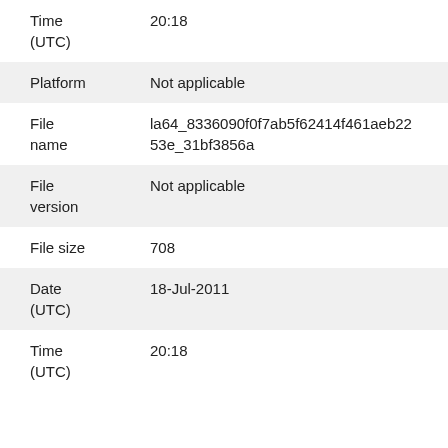| Field | Value |
| --- | --- |
| Time (UTC) | 20:18 |
| Platform | Not applicable |
| File name | la64_8336090f0f7ab5f62414f461aeb2253e_31bf3856a |
| File version | Not applicable |
| File size | 708 |
| Date (UTC) | 18-Jul-2011 |
| Time (UTC) | 20:18 |